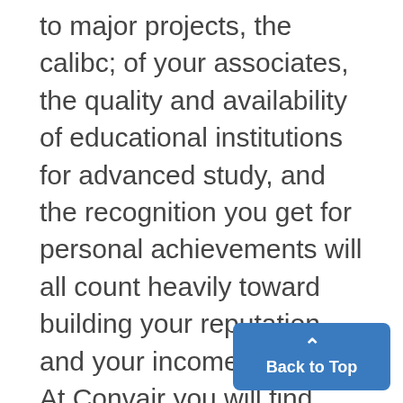to major projects, the calibc; of your associates, the quality and availability of educational institutions for advanced study, and the recognition you get for personal achievements will all count heavily toward building your reputation and your income. At Convair you will find management sensitive to the importance of your personal development and you
equipment and systems which are making headlines the world ov will have access to four highly r